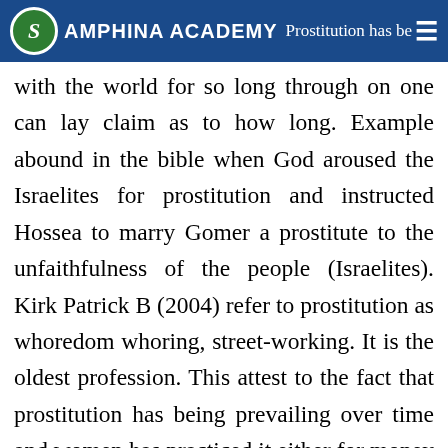SAMPHINA ACADEMY — Prostitution has be...
with the world for so long through on one can lay claim as to how long. Example abound in the bible when God aroused the Israelites for prostitution and instructed Hossea to marry Gomer a prostitute to the unfaithfulness of the people (Israelites). Kirk Patrick B (2004) refer to prostitution as whoredom whoring, street-working. It is the oldest profession. This attest to the fact that prostitution has being prevailing over time and women has practiced it either for money or pleasure seeking. Word book (2004) sees prostitution as the performance of sexual acts for payment. It exist throughout the word, large of in urban areas. Most prostitutes are